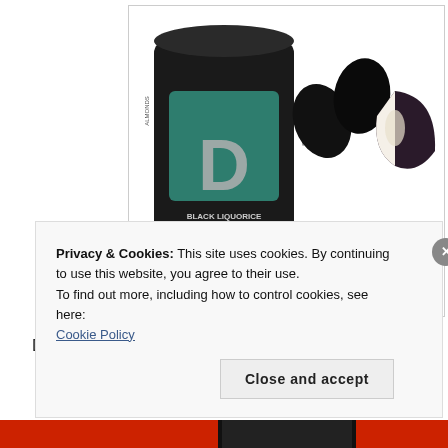[Figure (photo): Product shot: a black cylindrical canister with a green square label marked 'D' and text 'BLACK LIQUORICE ALMONDS', alongside three chocolate-covered almonds (one cut in half showing interior)]
D. Almonds Covered with Chocolate and Raw Liquorice Powder
Privacy & Cookies: This site uses cookies. By continuing to use this website, you agree to their use.
To find out more, including how to control cookies, see here:
Cookie Policy
Close and accept